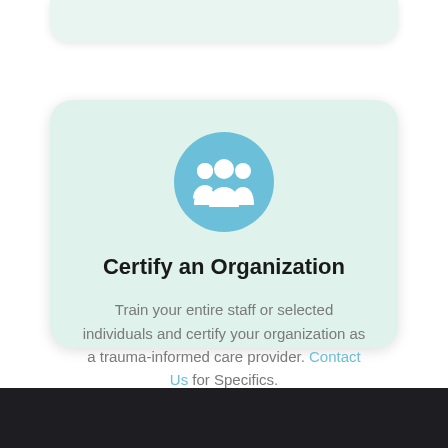[Figure (illustration): A blue circle icon containing a white group-of-people silhouette (two side figures and one larger central figure), representing an organization or group.]
Certify an Organization
Train your entire staff or selected individuals and certify your organization as a trauma-informed care provider. Contact Us for Specifics.